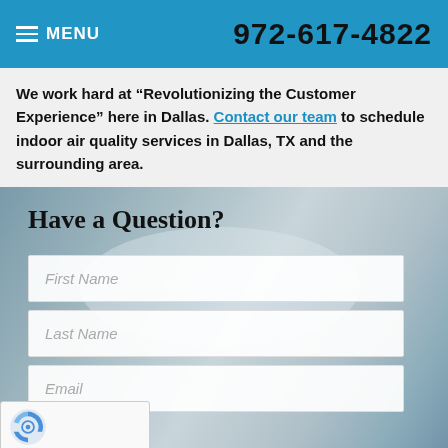MENU | 972-617-4822
We work hard at “Revolutionizing the Customer Experience” here in Dallas. Contact our team to schedule indoor air quality services in Dallas, TX and the surrounding area.
Have a Question?
First Name
Last Name
Email
Phone Number